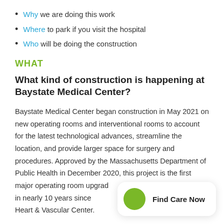Why we are doing this work
Where to park if you visit the hospital
Who will be doing the construction
WHAT
What kind of construction is happening at Baystate Medical Center?
Baystate Medical Center began construction in May 2021 on new operating rooms and interventional rooms to account for the latest technological advances, streamline the location, and provide larger space for surgery and procedures. Approved by the Massachusetts Department of Public Health in December 2020, this project is the first major operating room upgrade at Baystate Medical Center in nearly 10 years since the opening of the Davis Family Heart & Vascular Center.